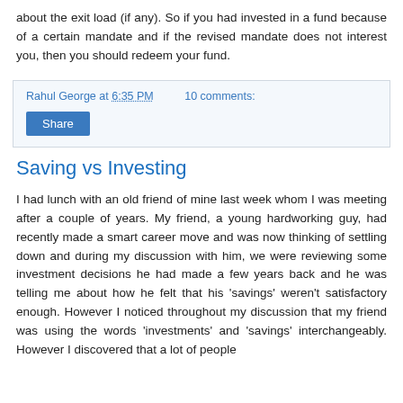about the exit load (if any). So if you had invested in a fund because of a certain mandate and if the revised mandate does not interest you, then you should redeem your fund.
Rahul George at 6:35 PM   10 comments:
Share
Saving vs Investing
I had lunch with an old friend of mine last week whom I was meeting after a couple of years. My friend, a young hardworking guy, had recently made a smart career move and was now thinking of settling down and during my discussion with him, we were reviewing some investment decisions he had made a few years back and he was telling me about how he felt that his ‘savings’ weren’t satisfactory enough. However I noticed throughout my discussion that my friend was using the words ‘investments’ and ‘savings’ interchangeably. However I discovered that a lot of people